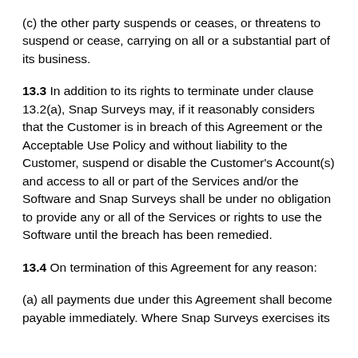(c) the other party suspends or ceases, or threatens to suspend or cease, carrying on all or a substantial part of its business.
13.3 In addition to its rights to terminate under clause 13.2(a), Snap Surveys may, if it reasonably considers that the Customer is in breach of this Agreement or the Acceptable Use Policy and without liability to the Customer, suspend or disable the Customer's Account(s) and access to all or part of the Services and/or the Software and Snap Surveys shall be under no obligation to provide any or all of the Services or rights to use the Software until the breach has been remedied.
13.4 On termination of this Agreement for any reason:
(a) all payments due under this Agreement shall become payable immediately. Where Snap Surveys exercises its